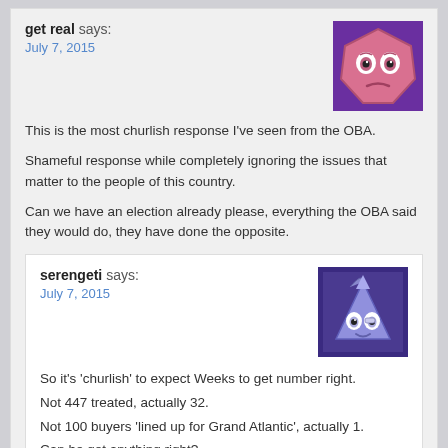get real says:
July 7, 2015
[Figure (illustration): Pink octagon-shaped cartoon face avatar with worried expression on purple background]
This is the most churlish response I've seen from the OBA.
Shameful response while completely ignoring the issues that matter to the people of this country.
Can we have an election already please, everything the OBA said they would do, they have done the opposite.
serengeti says:
July 7, 2015
[Figure (illustration): Purple triangular cartoon character avatar with hat and smiling face on dark purple background]
So it's 'churlish' to expect Weeks to get number right.
Not 447 treated, actually 32.
Not 100 buyers 'lined up for Grand Atlantic', actually 1.
Can he get anything right?
Oh wait. Can't expect that. That's churlish.